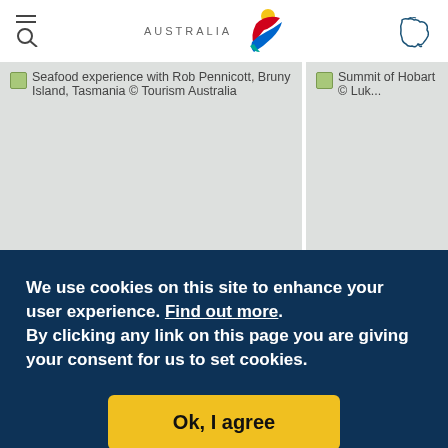Tourism Australia website header with menu, logo, and map icon
[Figure (photo): Seafood experience with Rob Pennicott, Bruny Island, Tasmania © Tourism Australia (image placeholder)]
[Figure (photo): Summit of Hobart © Luk... (image placeholder, partially visible)]
We use cookies on this site to enhance your user experience. Find out more. By clicking any link on this page you are giving your consent for us to set cookies.